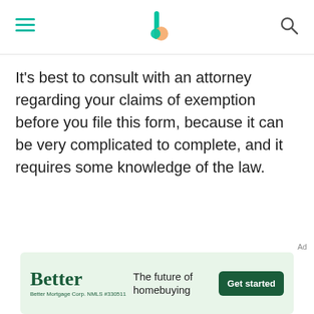Navigation header with hamburger menu, logo, and search icon
It's best to consult with an attorney regarding your claims of exemption before you file this form, because it can be very complicated to complete, and it requires some knowledge of the law.
[Figure (other): Advertisement banner: Better Mortgage – 'The future of homebuying' with 'Get started' button]